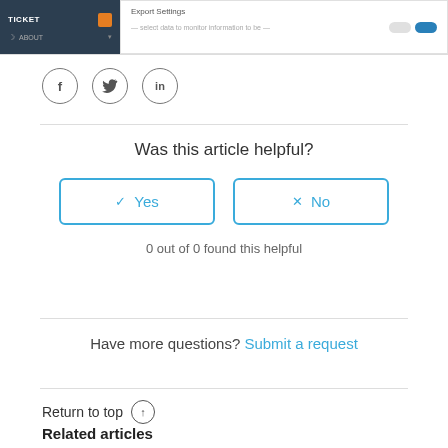[Figure (screenshot): Screenshot of a software UI showing a dark sidebar with TICKET and ABOUT labels, and a content area showing Export Settings with toggle controls]
[Figure (illustration): Three social media icons in circles: Facebook (f), Twitter (bird), LinkedIn (in)]
Was this article helpful?
✓  Yes
✕  No
0 out of 0 found this helpful
Have more questions? Submit a request
Return to top ↑
Related articles